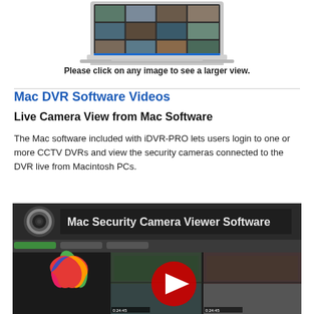[Figure (screenshot): Laptop computer displaying a multi-camera CCTV security camera view grid on screen]
Please click on any image to see a larger view.
Mac DVR Software Videos
Live Camera View from Mac Software
The Mac software included with iDVR-PRO lets users login to one or more CCTV DVRs and view the security cameras connected to the DVR live from Macintosh PCs.
[Figure (screenshot): YouTube video thumbnail for Mac Security Camera Viewer Software showing Apple logo and multi-camera CCTV view with YouTube play button overlay]